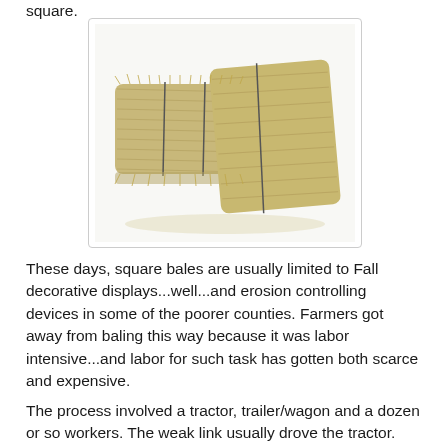square.
[Figure (photo): Two square hay bales leaning against each other on a white background, bound with twine/wire.]
These days, square bales are usually limited to Fall decorative displays...well...and erosion controlling devices in some of the poorer counties. Farmers got away from baling this way because it was labor intensive...and labor for such task has gotten both scarce and expensive.
The process involved a tractor, trailer/wagon and a dozen or so workers. The weak link usually drove the tractor. Stacking